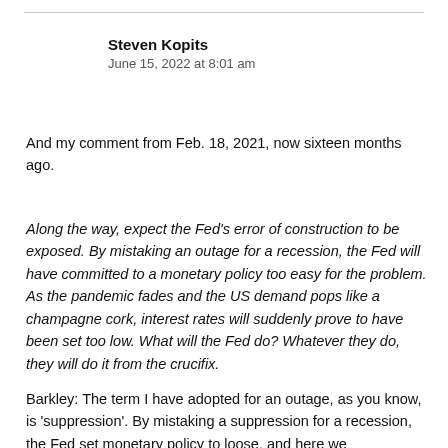Steven Kopits
June 15, 2022 at 8:01 am
And my comment from Feb. 18, 2021, now sixteen months ago.
Along the way, expect the Fed’s error of construction to be exposed. By mistaking an outage for a recession, the Fed will have committed to a monetary policy too easy for the problem. As the pandemic fades and the US demand pops like a champagne cork, interest rates will suddenly prove to have been set too low. What will the Fed do? Whatever they do, they will do it from the crucifix.
Barkley: The term I have adopted for an outage, as you know, is ‘suppression’. By mistaking a suppression for a recession, the Fed set monetary policy to loose, and here we